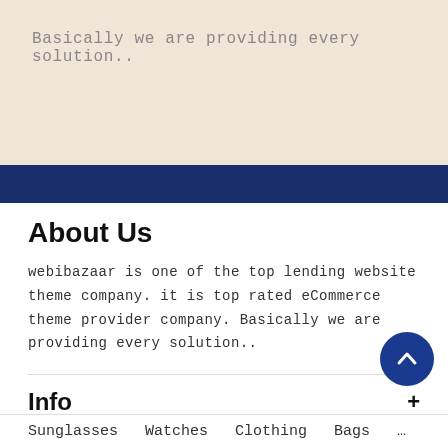Basically we are providing every solution..
About Us
webibazaar is one of the top lending website theme company. it is top rated eCommerce theme provider company. Basically we are providing every solution..
Info
Categories
Navigate
Sunglasses  Watches  Clothing  Bags  …